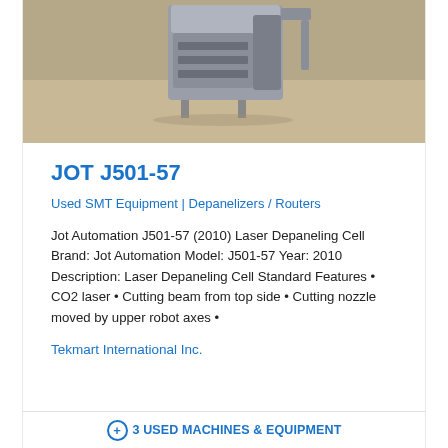[Figure (photo): Photo of Jot Automation J501-57 Laser Depaneling Cell machine in an industrial setting, showing a large grey/silver industrial machine on a concrete floor]
JOT J501-57
Used SMT Equipment | Depanelizers / Routers
Jot Automation J501-57 (2010) Laser Depaneling Cell Brand: Jot Automation Model: J501-57 Year: 2010 Description: Laser Depaneling Cell Standard Features • CO2 laser • Cutting beam from top side • Cutting nozzle moved by upper robot axes •
Tekmart International Inc.
3 USED MACHINES & EQUIPMENT